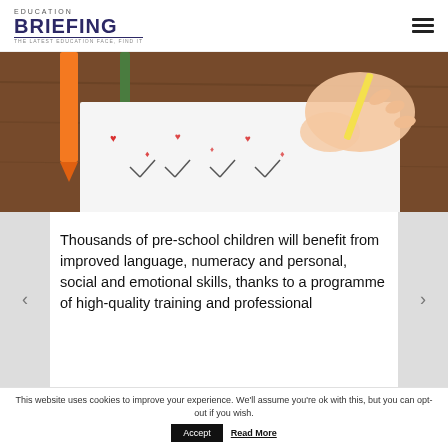EDUCATION BRIEFING — THE LATEST EDUCATION FACE, FIND IT
[Figure (photo): Close-up photo of a child's hands writing or drawing on a worksheet, with colored pencils visible on a wooden desk]
Thousands of pre-school children will benefit from improved language, numeracy and personal, social and emotional skills, thanks to a programme of high-quality training and professional
This website uses cookies to improve your experience. We'll assume you're ok with this, but you can opt-out if you wish.